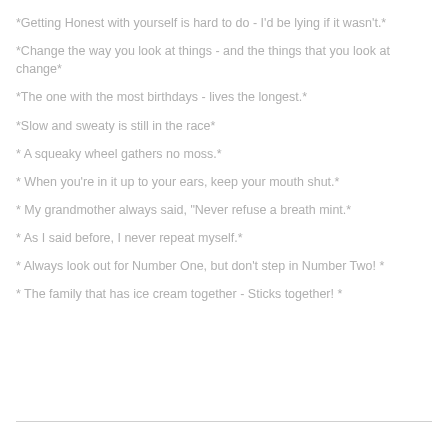*Getting Honest with yourself is hard to do - I'd be lying if it wasn't.*
*Change the way you look at things - and the things that you look at change*
*The one with the most birthdays - lives the longest.*
*Slow and sweaty is still in the race*
* A squeaky wheel gathers no moss.*
* When you're in it up to your ears, keep your mouth shut.*
* My grandmother always said, "Never refuse a breath mint.*
* As I said before, I never repeat myself.*
* Always look out for Number One, but don't step in Number Two! *
* The family that has ice cream together - Sticks together! *